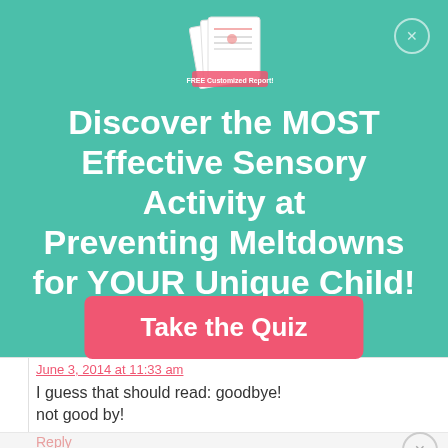[Figure (illustration): Logo/graphic showing stacked report pages with text 'FREE Customized Report!']
Discover the MOST Effective Sensory Activity at Preventing Meltdowns for YOUR Unique Child!
[Figure (other): Pink rounded rectangle button with text 'Take the Quiz']
June 3, 2014 at 11:33 am
I guess that should read: goodbye! not good by!
Reply